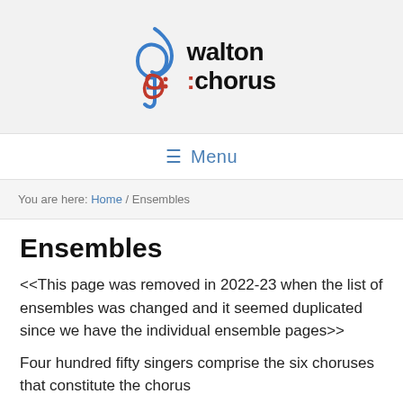[Figure (logo): Walton Chorus logo with treble clef in blue and red, text reading 'walton :chorus']
≡  Menu
You are here: Home / Ensembles
Ensembles
<<This page was removed in 2022-23 when the list of ensembles was changed and it seemed duplicated since we have the individual ensemble pages>>
Four hundred fifty singers comprise the six choruses that constitute the chorus...